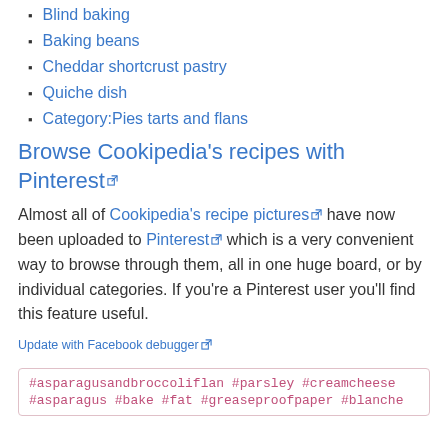Blind baking
Baking beans
Cheddar shortcrust pastry
Quiche dish
Category:Pies tarts and flans
Browse Cookipedia's recipes with Pinterest
Almost all of Cookipedia's recipe pictures have now been uploaded to Pinterest which is a very convenient way to browse through them, all in one huge board, or by individual categories. If you're a Pinterest user you'll find this feature useful.
Update with Facebook debugger
#asparagusandbroccoliflan #parsley #creamcheese #asparagus #bake #fat #greaseproofpaper #blanche